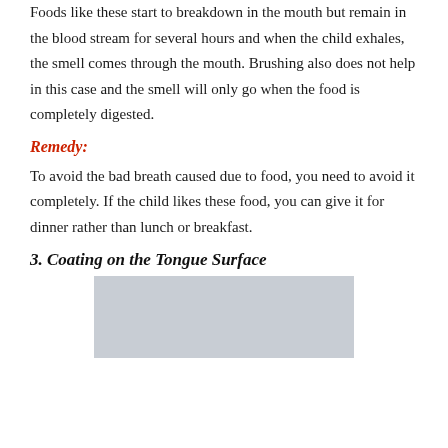Foods like these start to breakdown in the mouth but remain in the blood stream for several hours and when the child exhales, the smell comes through the mouth. Brushing also does not help in this case and the smell will only go when the food is completely digested.
Remedy:
To avoid the bad breath caused due to food, you need to avoid it completely. If the child likes these food, you can give it for dinner rather than lunch or breakfast.
3. Coating on the Tongue Surface
[Figure (photo): A light gray placeholder image showing a tongue or related medical image]